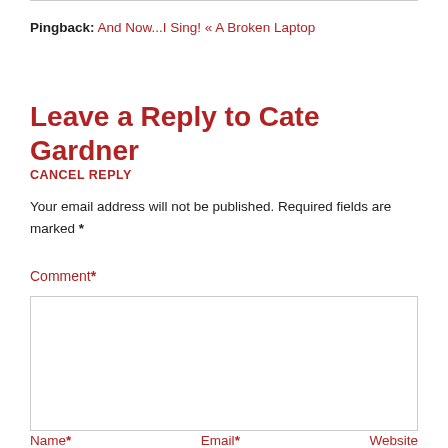Pingback: And Now...I Sing! « A Broken Laptop
Leave a Reply to Cate Gardner
CANCEL REPLY
Your email address will not be published. Required fields are marked *
Comment*
Name*
Email*
Website